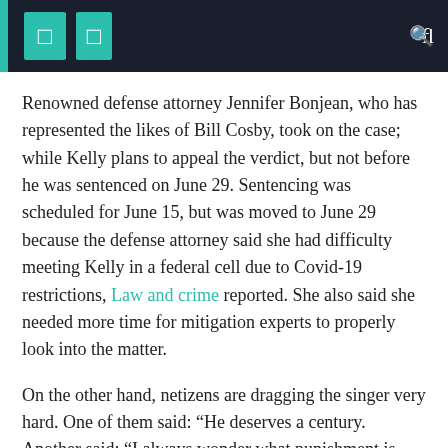Renowned defense attorney Jennifer Bonjean, who has represented the likes of Bill Cosby, took on the case; while Kelly plans to appeal the verdict, but not before he was sentenced on June 29. Sentencing was scheduled for June 15, but was moved to June 29 because the defense attorney said she had difficulty meeting Kelly in a federal cell due to Covid-19 restrictions, Law and crime reported. She also said she needed more time for mitigation experts to properly look into the matter.
On the other hand, netizens are dragging the singer very hard. One of them said: “He deserves a century. Another said: “I always wonder what punishment is enough. No punishment will undo the crimes or heal the wounds. 25 years seems like little given that its victims have so much to live for.” While